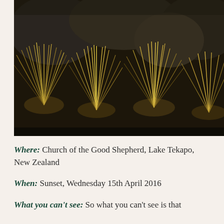[Figure (photo): Photograph of tussock grasses with golden-brown blades blowing in the wind, surrounded by large dark boulders/rocks in the background. The lighting suggests golden hour or sunset light illuminating the grass clumps.]
Where: Church of the Good Shepherd, Lake Tekapo, New Zealand
When: Sunset, Wednesday 15th April 2016
What you can't see: So what you can't see is that